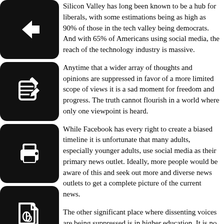Silicon Valley has long been known to be a hub for liberals, with some estimations being as high as 90% of those in the tech valley being democrats. And with 65% of Americans using social media, the reach of the technology industry is massive.
Anytime that a wider array of thoughts and opinions are suppressed in favor of a more limited scope of views it is a sad moment for freedom and progress. The truth cannot flourish in a world where only one viewpoint is heard.
While Facebook has every right to create a biased timeline it is unfortunate that many adults, especially younger adults, use social media as their primary news outlet. Ideally, more people would be aware of this and seek out more and diverse news outlets to get a complete picture of the current news.
The other significant place where dissenting voices are being suppressed is in higher education. It is no secret that the college system in America has an extreme left-leaning bias.
Universities bolster their stats on diversity. But that love of diversity does not extend to dissenting ideological perspectives. With conservative and even Christian voices being seen as archaic and even asinine on many college campuses.
This year alone, popular conservative speaker Ben Shapiro